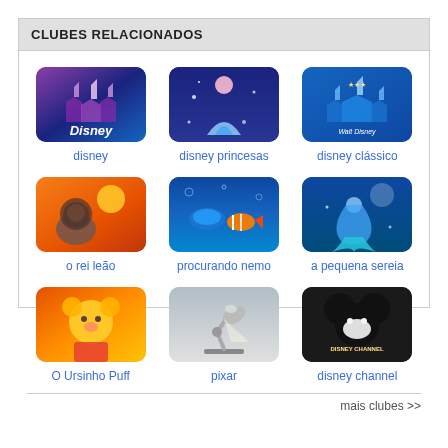CLUBES RELACIONADOS
[Figure (illustration): Disney club thumbnail - purple and blue castle]
disney
[Figure (illustration): Disney princesas club thumbnail - Cinderella figure]
disney princesas
[Figure (illustration): Disney clássico club thumbnail - Walt Disney castle logo]
disney clássico
[Figure (illustration): O rei leão club thumbnail - Lion King scene]
o rei leão
[Figure (illustration): Procurando Nemo club thumbnail - Nemo and Dory]
procurando nemo
[Figure (illustration): A pequena sereia club thumbnail - Little Mermaid]
a pequena sereia
[Figure (illustration): O Ursinho Puff club thumbnail - Winnie the Pooh]
O Ursinho Puff
[Figure (illustration): Pixar club thumbnail - Luxo Jr lamp]
pixar
[Figure (illustration): Disney Channel club thumbnail - Mickey Mouse ears logo]
disney channel
mais clubes >>